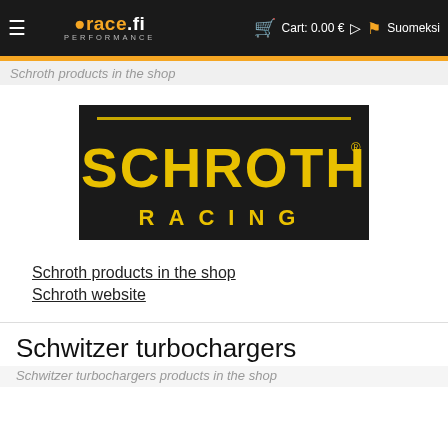≡  orace.fi PERFORMANCE  🛒 Cart: 0.00 €  🏴 Suomeksi
Schroth products in the shop
[Figure (logo): Schroth Racing logo — black background with large yellow bold text 'SCHROTH' and below it in spaced letters 'RACING', with a registered trademark symbol]
Schroth products in the shop
Schroth website
Schwitzer turbochargers
Schwitzer turbochargers products in the shop